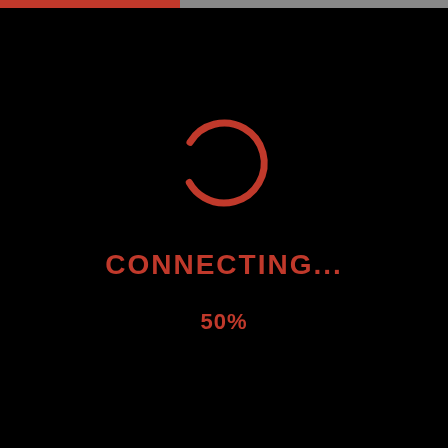[Figure (infographic): Black background screen with a red partial circular loading spinner icon in the center, below which is the text CONNECTING... and 50%. A thin progress bar at the top shows red fill on the left half and gray on the right.]
CONNECTING...
50%